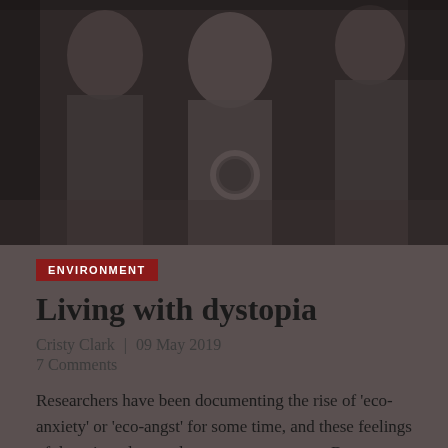[Figure (photo): Black and white photograph of three men, one appearing to be a doctor or medical professional examining another person with a stethoscope, dimly lit with dark tones]
ENVIRONMENT
Living with dystopia
Cristy Clark | 09 May 2019
7 Comments
Researchers have been documenting the rise of 'eco-anxiety' or 'eco-angst' for some time, and these feelings of despair and powerlessness are common. But we need to become the heroes of this dystopic